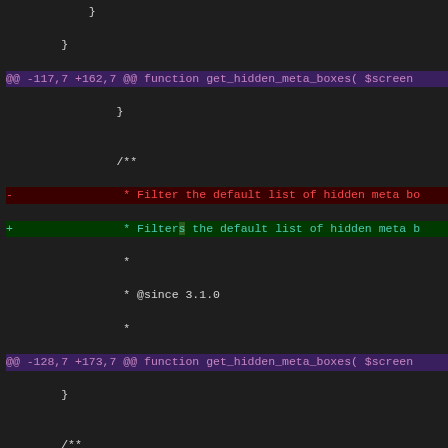[Figure (screenshot): Git diff output showing code changes in a PHP file, with hunk headers in purple, deleted lines in red, added lines in green, and context lines in white, on a dark background.]